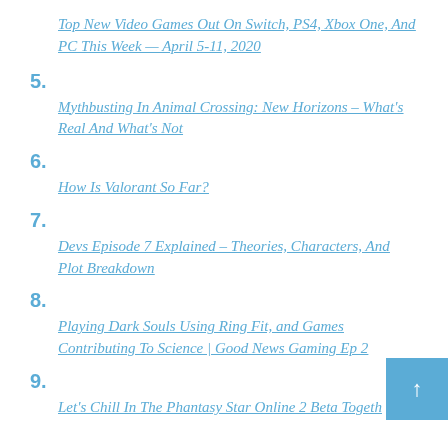Top New Video Games Out On Switch, PS4, Xbox One, And PC This Week — April 5-11, 2020
5. Mythbusting In Animal Crossing: New Horizons – What's Real And What's Not
6. How Is Valorant So Far?
7. Devs Episode 7 Explained – Theories, Characters, And Plot Breakdown
8. Playing Dark Souls Using Ring Fit, and Games Contributing To Science | Good News Gaming Ep 2
9. Let's Chill In The Phantasy Star Online 2 Beta Togeth…